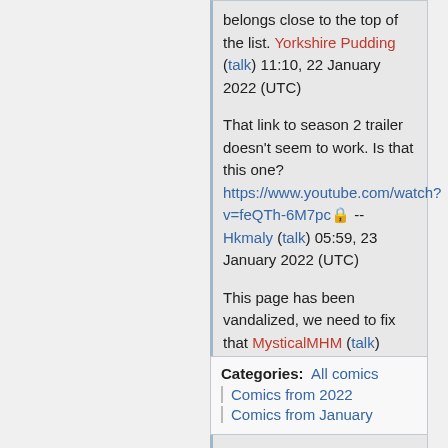belongs close to the top of the list. Yorkshire Pudding (talk) 11:10, 22 January 2022 (UTC)
That link to season 2 trailer doesn't seem to work. Is that this one? https://www.youtube.com/watch?v=feQTh-6M7pc -- Hkmaly (talk) 05:59, 23 January 2022 (UTC)
This page has been vandalized, we need to fix that MysticalMHM (talk) 00:20, 4 May 2022 (UTC)
Categories: All comics Comics from 2022 Comics from January